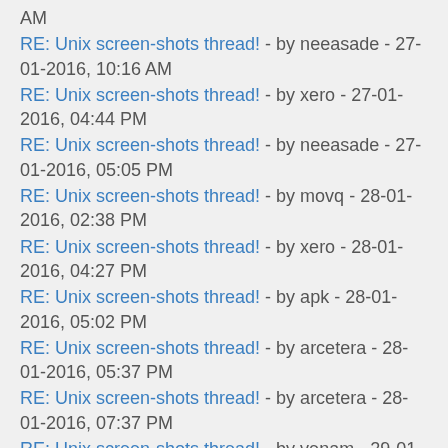AM
RE: Unix screen-shots thread! - by neeasade - 27-01-2016, 10:16 AM
RE: Unix screen-shots thread! - by xero - 27-01-2016, 04:44 PM
RE: Unix screen-shots thread! - by neeasade - 27-01-2016, 05:05 PM
RE: Unix screen-shots thread! - by movq - 28-01-2016, 02:38 PM
RE: Unix screen-shots thread! - by xero - 28-01-2016, 04:27 PM
RE: Unix screen-shots thread! - by apk - 28-01-2016, 05:02 PM
RE: Unix screen-shots thread! - by arcetera - 28-01-2016, 05:37 PM
RE: Unix screen-shots thread! - by arcetera - 28-01-2016, 07:37 PM
RE: Unix screen-shots thread! - by venam - 29-01-2016, 08:24 AM
RE: Unix screen-shots thread! - by movq - 29-01-2016, 07:47 PM
RE: Unix screen-shots thread! - by arcetera - 30-01-2016,